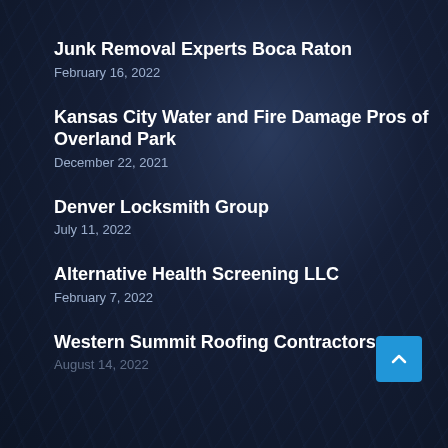Junk Removal Experts Boca Raton
February 16, 2022
Kansas City Water and Fire Damage Pros of Overland Park
December 22, 2021
Denver Locksmith Group
July 11, 2022
Alternative Health Screening LLC
February 7, 2022
Western Summit Roofing Contractors
August 14, 2022